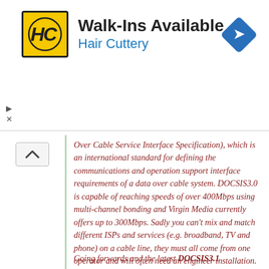[Figure (logo): Hair Cuttery advertisement banner with HC logo, 'Walk-Ins Available' heading, 'Hair Cuttery' subtitle in blue, and a blue navigation/directions diamond icon]
Over Cable Service Interface Specification), which is an international standard for defining the communications and operation support interface requirements of a data over cable system. DOCSIS3.0 is capable of reaching speeds of over 400Mbps using multi-channel bonding and Virgin Media currently offers up to 300Mbps. Sadly you can't mix and match different ISPs and services (e.g. broadband, TV and phone) on a cable line, they must all come from one operator and will often need an engineer installation.
Going forwards and the latest DOCSIS3.1